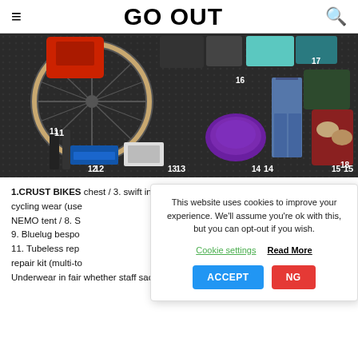GO OUT
[Figure (photo): Flat lay of cycling gear and equipment numbered 11-18 on dark perforated mat background. Items include bike wheel, bags, tools, jeans, shoes, tent items. Numbers 11-18 visible on items.]
1.CRUST BIKES chest / 3. swift in cycling wear (use NEMO tent / 8. S 9. Bluelug bespo 11. Tubeless rep repair kit (multi-to Underwear in fair whether staff sack □ 15. Tent pole □ 16
This website uses cookies to improve your experience. We'll assume you're ok with this, but you can opt-out if you wish.
Cookie settings   Read More
ACCEPT   NG